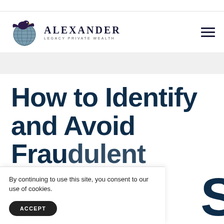[Figure (logo): Alexander Legacy Private Wealth logo with eagle and globe icon]
By continuing to use this site, you consent to our use of cookies.
How to Identify and Avoid Fraudulent